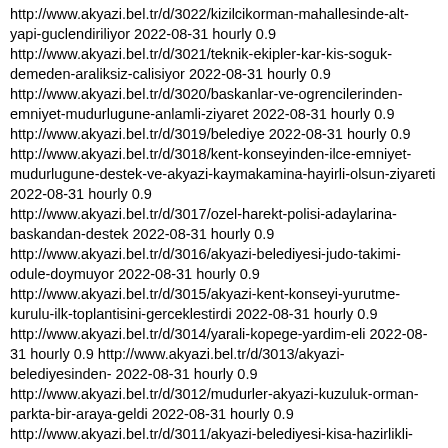http://www.akyazi.bel.tr/d/3022/kizilcikorman-mahallesinde-alt-yapi-guclendiriliyor 2022-08-31 hourly 0.9
http://www.akyazi.bel.tr/d/3021/teknik-ekipler-kar-kis-soguk-demeden-araliksiz-calisiyor 2022-08-31 hourly 0.9
http://www.akyazi.bel.tr/d/3020/baskanlar-ve-ogrencilerinden-emniyet-mudurlugune-anlamli-ziyaret 2022-08-31 hourly 0.9
http://www.akyazi.bel.tr/d/3019/belediye 2022-08-31 hourly 0.9
http://www.akyazi.bel.tr/d/3018/kent-konseyinden-ilce-emniyet-mudurlugune-destek-ve-akyazi-kaymakamina-hayirli-olsun-ziyareti 2022-08-31 hourly 0.9
http://www.akyazi.bel.tr/d/3017/ozel-harekt-polisi-adaylarina-baskandan-destek 2022-08-31 hourly 0.9
http://www.akyazi.bel.tr/d/3016/akyazi-belediyesi-judo-takimi-odule-doymuyor 2022-08-31 hourly 0.9
http://www.akyazi.bel.tr/d/3015/akyazi-kent-konseyi-yurutme-kurulu-ilk-toplantisini-gerceklestirdi 2022-08-31 hourly 0.9
http://www.akyazi.bel.tr/d/3014/yarali-kopege-yardim-eli 2022-08-31 hourly 0.9 http://www.akyazi.bel.tr/d/3013/akyazi-belediyesinden- 2022-08-31 hourly 0.9
http://www.akyazi.bel.tr/d/3012/mudurler-akyazi-kuzuluk-orman-parkta-bir-araya-geldi 2022-08-31 hourly 0.9
http://www.akyazi.bel.tr/d/3011/akyazi-belediyesi-kisa-hazirlikli-giriyor 2022-08-31 hourly 0.9
http://www.akyazi.bel.tr/d/3010/kent-konseyi-1-olagan-genel-kurulu-toplantisi-yapildi 2022-08-31 hourly 0.9